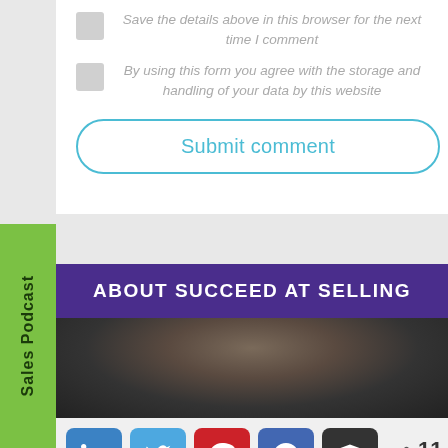Save the details above in this browser for the next time I comment
By using this form you agree with the storage and handling of your data by this website
Submit comment
ABOUT SUCCEED AT SELLING
[Figure (photo): Partial photo of a person, top of head visible]
[Figure (infographic): Social share bar with LinkedIn, Twitter, Pinterest, Facebook, Buffer buttons and share count of 11 SHARES]